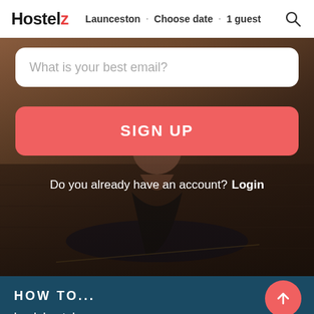Hostelz · Launceston · Choose date · 1 guest
What is your best email?
SIGN UP
Do you already have an account? Login
[Figure (photo): Background photo of a person doing yoga on a mat on a wooden floor, dark overlay]
HOW TO...
book hostels
pack your backpack